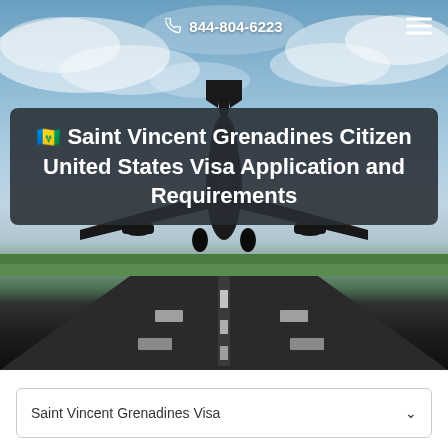844-804-6223
[Figure (photo): Airplane taking off from a runway viewed from ground level, with a cloudy sky background and green grass on sides of the runway]
🇻🇨 Saint Vincent Grenadines Citizen United States Visa Application and Requirements
Saint Vincent Grenadines Visa